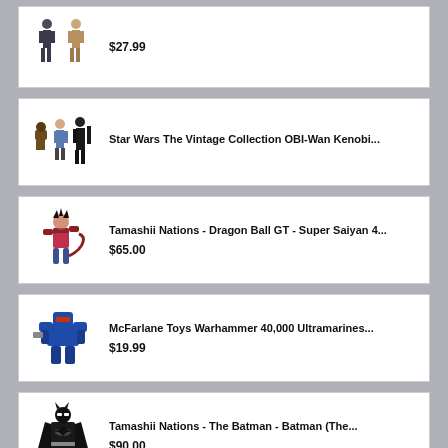[Figure (photo): Two action figures - Star Wars characters]
$27.99
[Figure (photo): Three Star Wars action figures including Obi-Wan Kenobi collection]
Star Wars The Vintage Collection OBI-Wan Kenobi...
[Figure (photo): Dragon Ball GT Super Saiyan 4 action figure]
Tamashii Nations - Dragon Ball GT - Super Saiyan 4...
$65.00
[Figure (photo): McFarlane Toys Warhammer 40,000 Ultramarines action figure]
McFarlane Toys Warhammer 40,000 Ultramarines...
$19.99
[Figure (photo): Batman action figure in dark cape]
Tamashii Nations - The Batman - Batman (The...
$90.00